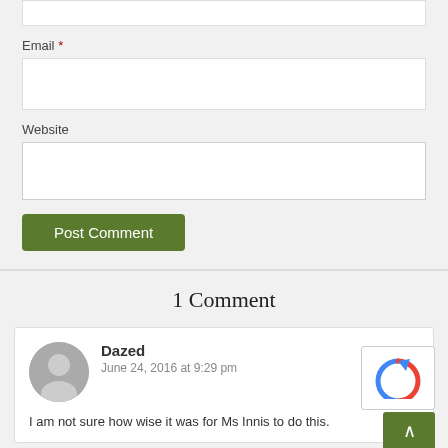Email *
Website
Post Comment
1 Comment
Dazed
June 24, 2016 at 9:29 pm
I am not sure how wise it was for Ms Innis to do this.